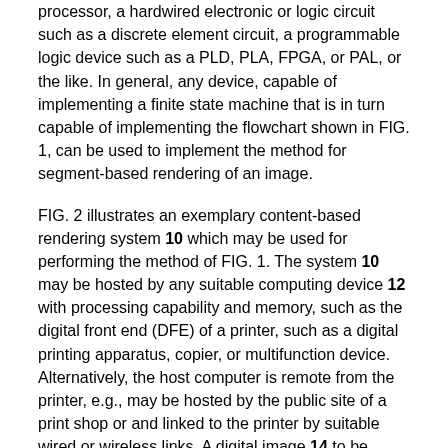processor, a hardwired electronic or logic circuit such as a discrete element circuit, a programmable logic device such as a PLD, PLA, FPGA, or PAL, or the like. In general, any device, capable of implementing a finite state machine that is in turn capable of implementing the flowchart shown in FIG. 1, can be used to implement the method for segment-based rendering of an image.
FIG. 2 illustrates an exemplary content-based rendering system 10 which may be used for performing the method of FIG. 1. The system 10 may be hosted by any suitable computing device 12 with processing capability and memory, such as the digital front end (DFE) of a printer, such as a digital printing apparatus, copier, or multifunction device. Alternatively, the host computer is remote from the printer, e.g., may be hosted by the public site of a print shop or and linked to the printer by suitable wired or wireless links. A digital image 14 to be rendered is input to the system 10 and may be stored in data memory 16 during processing. A content-based converted image 18 which has been processed by the system 10 is output and (optionally after further processing) is sent to a color output device 20. In the exemplary embodiment, the color